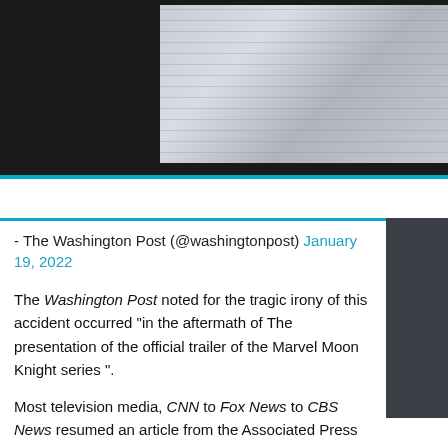[Figure (photo): Blurred/defocused newspaper text image against a dark background]
- The Washington Post (@washingtonpost) January 19, 2022
The Washington Post noted for the tragic irony of this accident occurred "in the aftermath of The presentation of the official trailer of the Marvel Moon Knight series ".
Most television media, CNN to Fox News to CBS News resumed an article from the Associated Press agency detailing the Gaspard Palliel career, before concluding by a parallel with The accident of the former German pilot of Formula 1, Michael Schumacher.